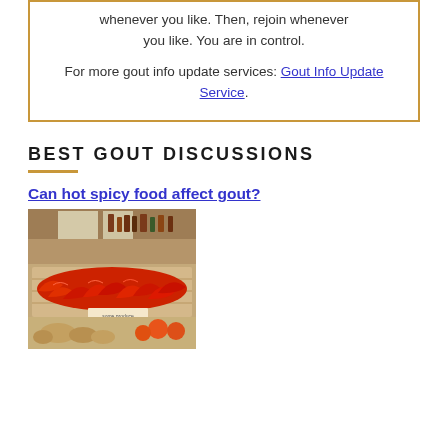whenever you like. Then, rejoin whenever you like. You are in control.

For more gout info update services: Gout Info Update Service.
BEST GOUT DISCUSSIONS
Can hot spicy food affect gout?
[Figure (photo): Photo of red chili peppers displayed at a market stall, with other produce visible in the background]